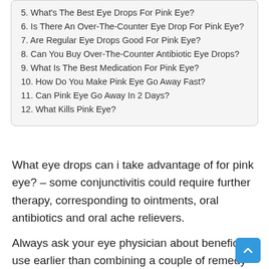5. What's The Best Eye Drops For Pink Eye?
6. Is There An Over-The-Counter Eye Drop For Pink Eye?
7. Are Regular Eye Drops Good For Pink Eye?
8. Can You Buy Over-The-Counter Antibiotic Eye Drops?
9. What Is The Best Medication For Pink Eye?
10. How Do You Make Pink Eye Go Away Fast?
11. Can Pink Eye Go Away In 2 Days?
12. What Kills Pink Eye?
What eye drops can i take advantage of for pink eye? – some conjunctivitis could require further therapy, corresponding to ointments, oral antibiotics and oral ache relievers.
Always ask your eye physician about beneficial use earlier than combining a couple of remedy